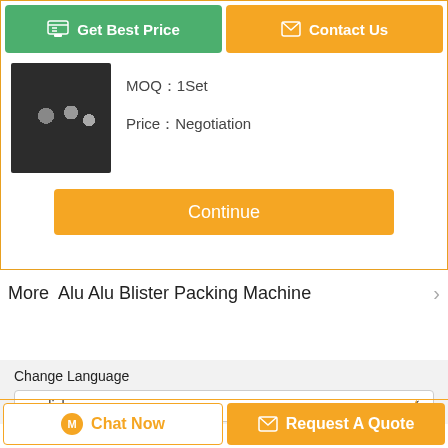[Figure (screenshot): E-commerce product listing page for Alu Alu Blister Packing Machine showing product image, MOQ, price, and action buttons]
MOQ：1Set
Price：Negotiation
Continue
More  Alu Alu Blister Packing Machine
New Condition Easy operation Alu Alu Blister Packing Mach
Change Language
english
Chat Now
Request A Quote